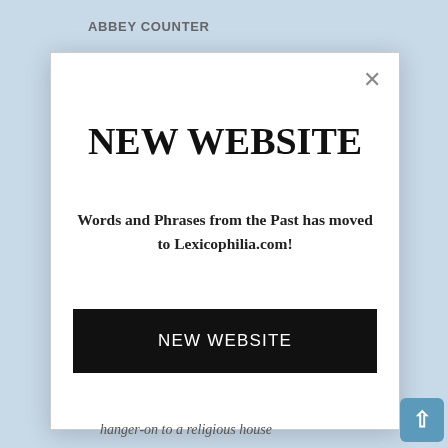ABBEY COUNTER
NEW WEBSITE
Words and Phrases from the Past has moved to Lexicophilia.com!
NEW WEBSITE
hanger-on to a religious house